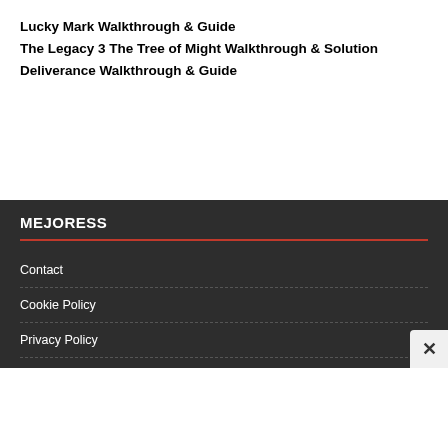Lucky Mark Walkthrough & Guide
The Legacy 3 The Tree of Might Walkthrough & Solution
Deliverance Walkthrough & Guide
MEJORESS
Contact
Cookie Policy
Privacy Policy